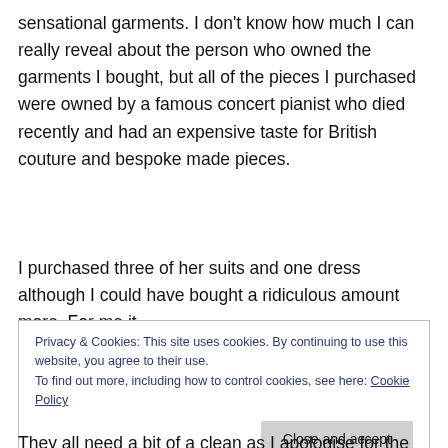sensational garments. I don't know how much I can really reveal about the person who owned the garments I bought, but all of the pieces I purchased were owned by a famous concert pianist who died recently and had an expensive taste for British couture and bespoke made pieces.
I purchased three of her suits and one dress although I could have bought a ridiculous amount more. For me it
Privacy & Cookies: This site uses cookies. By continuing to use this website, you agree to their use.
To find out more, including how to control cookies, see here: Cookie Policy
They all need a bit of a clean as I apologise for the